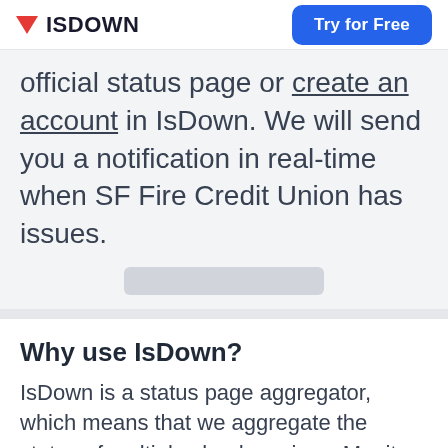ISDOWN | Try for Free
official status page or create an account in IsDown. We will send you a notification in real-time when SF Fire Credit Union has issues.
Why use IsDown?
IsDown is a status page aggregator, which means that we aggregate the status of multiple cloud services. Monitor all the services that impact your business. Get a dashboard with the health of all services and status